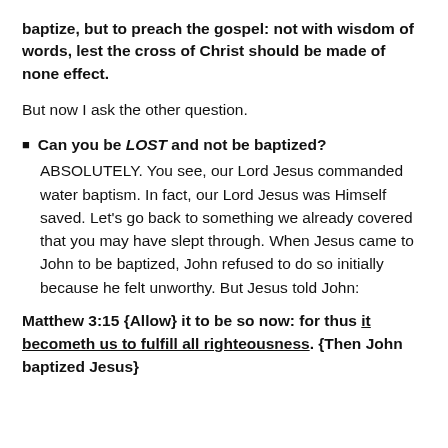baptize, but to preach the gospel: not with wisdom of words, lest the cross of Christ should be made of none effect.
But now I ask the other question.
Can you be LOST and not be baptized? ABSOLUTELY. You see, our Lord Jesus commanded water baptism. In fact, our Lord Jesus was Himself saved. Let's go back to something we already covered that you may have slept through. When Jesus came to John to be baptized, John refused to do so initially because he felt unworthy. But Jesus told John:
Matthew 3:15 {Allow} it to be so now: for thus it becometh us to fulfill all righteousness. {Then John baptized Jesus}